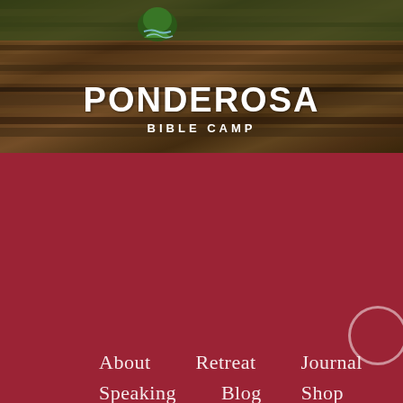[Figure (logo): Ponderosa Bible Camp banner logo with outdoor nature background, white text reading PONDEROSA and BIBLE CAMP]
About   Retreat   Journal
Speaking   Blog   Shop
Contact
[Figure (infographic): Social media icons: email/envelope, Facebook, Instagram, Twitter, YouTube]
© 2022 Karmen Smith | Design by The Design Diva | Development by MRM | Privacy
Photos Courtesy of Rachel Clarke Photography